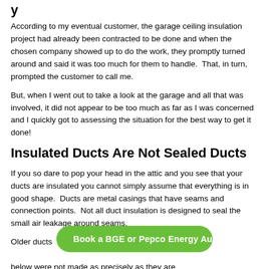y
According to my eventual customer, the garage ceiling insulation project had already been contracted to be done and when the chosen company showed up to do the work, they promptly turned around and said it was too much for them to handle.  That, in turn, prompted the customer to call me.
But, when I went out to take a look at the garage and all that was involved, it did not appear to be too much as far as I was concerned and I quickly got to assessing the situation for the best way to get it done!
Insulated Ducts Are Not Sealed Ducts
If you so dare to pop your head in the attic and you see that your ducts are insulated you cannot simply assume that everything is in good shape.  Ducts are metal casings that have seams and connection points.  Not all duct insulation is designed to seal the small air leakage around seams.
Older ducts ... example below were not made as precisely as they are
Book a BGE or Pepco Energy Audit Now!